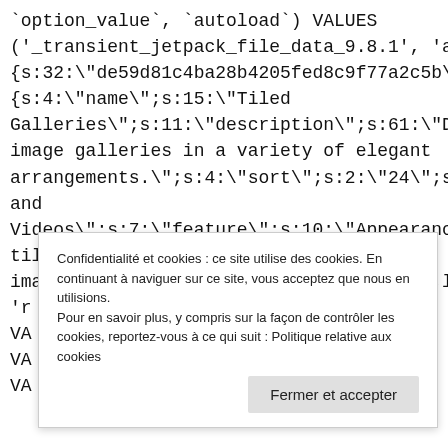`option_value`, `autoload`) VALUES
('_transient_jetpack_file_data_9.8.1', 'a:1:
{s:32:"de59d81c4ba28b4205fed8c9f77a2c5b";a:1
{s:4:"name";s:15:"Tiled
Galleries";s:11:"description";s:61:"Displa
image galleries in a variety of elegant
arrangements.";s:4:"sort";s:2:"24";s:20:\
and
Videos";s:7:"feature";s:10:"Appearance";s
tiles, tiled, grid, mosaic,
imażes";s:12:"plan_classes";s:0:"";ll'
'r                                              =
VA
VA
VA
Confidentialité et cookies : ce site utilise des cookies. En continuant à naviguer sur ce site, vous acceptez que nous en utilisions.
Pour en savoir plus, y compris sur la façon de contrôler les cookies, reportez-vous à ce qui suit : Politique relative aux cookies
Fermer et accepter